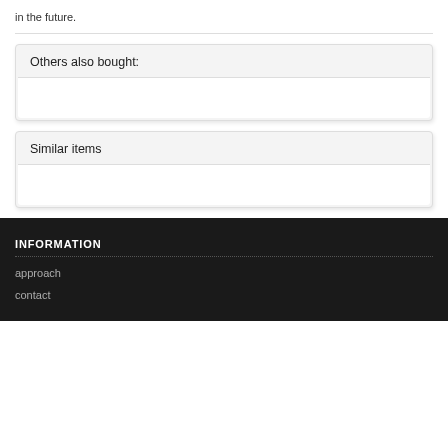in the future.
Others also bought:
Similar items
INFORMATION
approach
contact